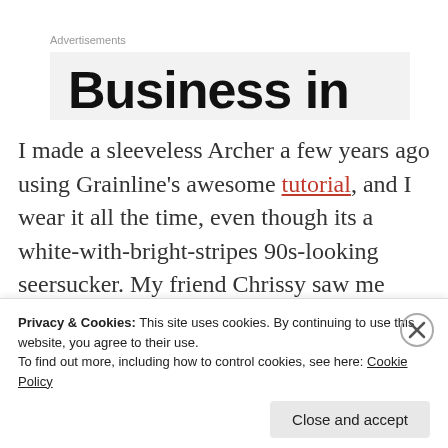Advertisements
[Figure (other): Advertisement banner partially showing bold text 'Business in']
I made a sleeveless Archer a few years ago using Grainline's awesome tutorial, and I wear it all the time, even though its a white-with-bright-stripes 90s-looking seersucker. My friend Chrissy saw me wearing it one day and commented on how much she loved it, so I decided to make her one for her
Privacy & Cookies: This site uses cookies. By continuing to use this website, you agree to their use.
To find out more, including how to control cookies, see here: Cookie Policy
Close and accept